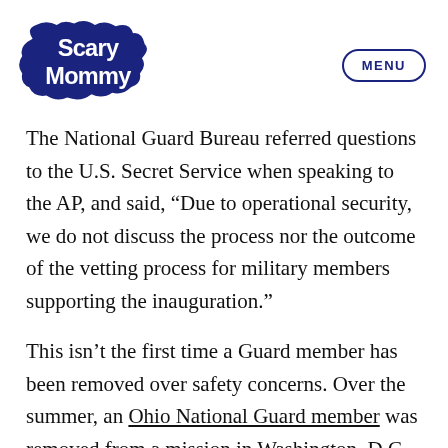[Figure (logo): Scary Mommy logo — stylized bubbly text in dark navy blue]
The National Guard Bureau referred questions to the U.S. Secret Service when speaking to the AP, and said, “Due to operational security, we do not discuss the process nor the outcome of the vetting process for military members supporting the inauguration.”
This isn’t the first time a Guard member has been removed over safety concerns. Over the summer, an Ohio National Guard member was removed from a mission in Washington, D.C.,